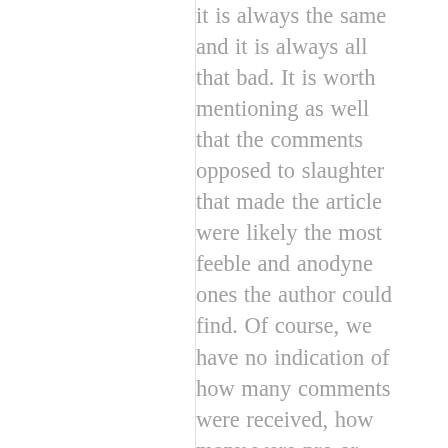it is always the same and it is always all that bad. It is worth mentioning as well that the comments opposed to slaughter that made the article were likely the most feeble and anodyne ones the author could find. Of course, we have no indication of how many comments were received, how many were pro or against and which measures were taken to prevent trolling (none, as happens with non-scientific polls), which is more than
[Figure (other): A circular scroll-to-top button with an upward-pointing chevron arrow, rendered in light gray.]